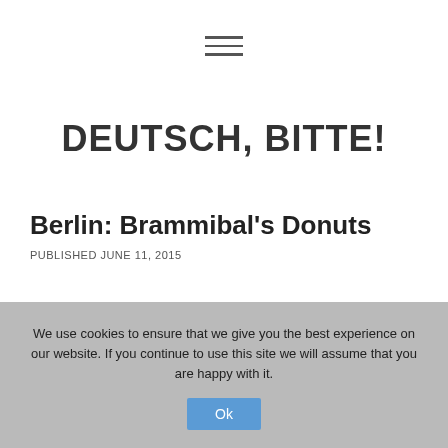[Figure (other): Hamburger menu icon with three horizontal lines]
DEUTSCH, BITTE!
Berlin: Brammibal's Donuts
PUBLISHED JUNE 11, 2015
We use cookies to ensure that we give you the best experience on our website. If you continue to use this site we will assume that you are happy with it.
Ok